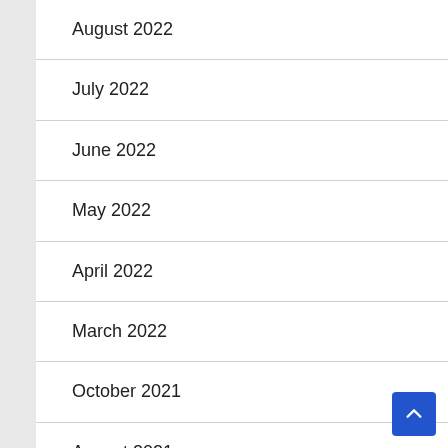August 2022
July 2022
June 2022
May 2022
April 2022
March 2022
October 2021
August 2021
July 2021